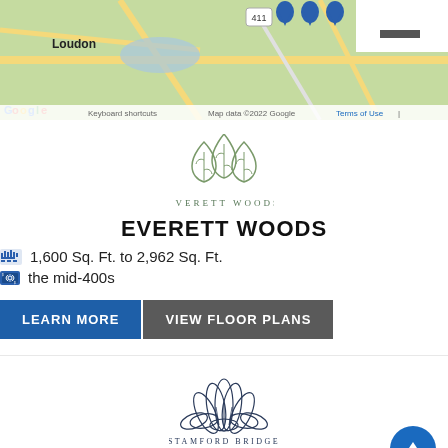[Figure (map): Google Maps screenshot showing the area around Loudon and Maryville, Tennessee with location markers visible. Map data ©2022 Google. Shows Townsend, route 411, and route 32. Keyboard shortcuts and Terms of Use visible.]
[Figure (logo): Everett Woods logo: three stylized leaf/tree outline icons in sage green, arranged in a triangular cluster. Text below reads EVERETT WOODS in spaced serif lettering.]
EVERETT WOODS
1,600 Sq. Ft. to 2,962 Sq. Ft.
the mid-400s
LEARN MORE
VIEW FLOOR PLANS
[Figure (logo): Stamford Bridge logo: a stylized lotus/water lily flower outline in dark navy/slate blue, with many layered petals. Text below reads STAMFORD BRIDGE in spaced serif lettering.]
STAMFORD BRIDGE
2,864 Sq. Ft. to 3,161 Sq. Ft.